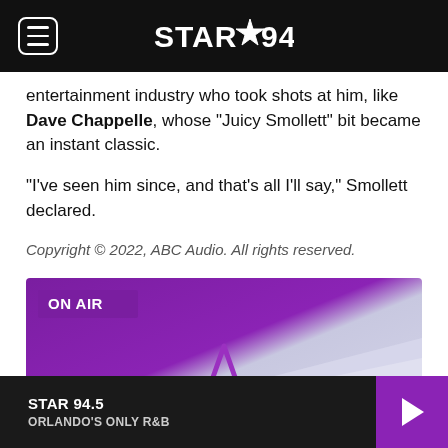STAR 94.5
entertainment industry who took shots at him, like Dave Chappelle, whose "Juicy Smollett" bit became an instant classic.
"I've seen him since, and that's all I'll say," Smollett declared.
Copyright © 2022, ABC Audio. All rights reserved.
[Figure (other): ON AIR banner with purple and grey gradient background featuring a Star 94.5 star logo watermark]
STAR 94.5 ORLANDO'S ONLY R&B